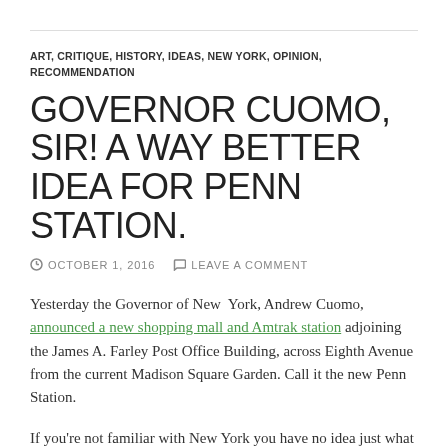ART, CRITIQUE, HISTORY, IDEAS, NEW YORK, OPINION, RECOMMENDATION
GOVERNOR CUOMO, SIR! A WAY BETTER IDEA FOR PENN STATION.
OCTOBER 1, 2016   LEAVE A COMMENT
Yesterday the Governor of New York, Andrew Cuomo, announced a new shopping mall and Amtrak station adjoining the James A. Farley Post Office Building, across Eighth Avenue from the current Madison Square Garden. Call it the new Penn Station.
If you're not familiar with New York you have no idea just what